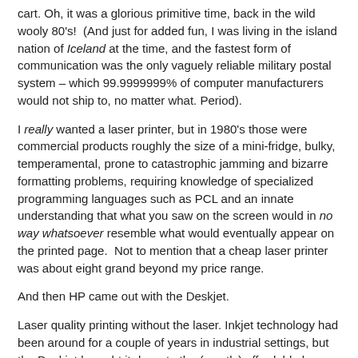cart. Oh, it was a glorious primitive time, back in the wild wooly 80's!  (And just for added fun, I was living in the island nation of Iceland at the time, and the fastest form of communication was the only vaguely reliable military postal system – which 99.9999999% of computer manufacturers would not ship to, no matter what. Period).
I really wanted a laser printer, but in 1980's those were commercial products roughly the size of a mini-fridge, bulky, temperamental, prone to catastrophic jamming and bizarre formatting problems, requiring knowledge of specialized programming languages such as PCL and an innate understanding that what you saw on the screen would in no way whatsoever resemble what would eventually appear on the printed page.  Not to mention that a cheap laser printer was about eight grand beyond my price range.
And then HP came out with the Deskjet.
Laser quality printing without the laser. Inkjet technology had been around for a couple of years in industrial settings, but the Deskjet brought it down to the (mostly) affordable home market.